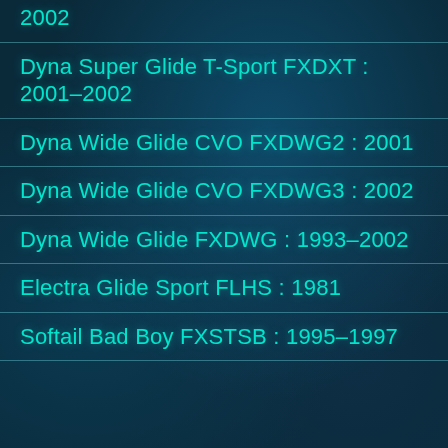2002
Dyna Super Glide T-Sport FXDXT : 2001–2002
Dyna Wide Glide CVO FXDWG2 : 2001
Dyna Wide Glide CVO FXDWG3 : 2002
Dyna Wide Glide FXDWG : 1993–2002
Electra Glide Sport FLHS : 1981
Softail Bad Boy FXSTSB : 1995–1997